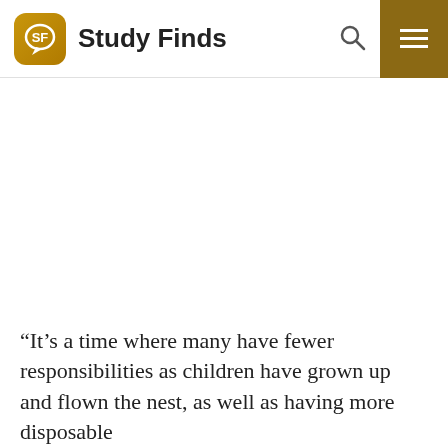Study Finds
[Figure (other): White blank advertisement or image placeholder area]
“It’s a time where many have fewer responsibilities as children have grown up and flown the nest, as well as having more disposable income than they did when they were younger,” says a TUI UK spokesperson in a statement. “The